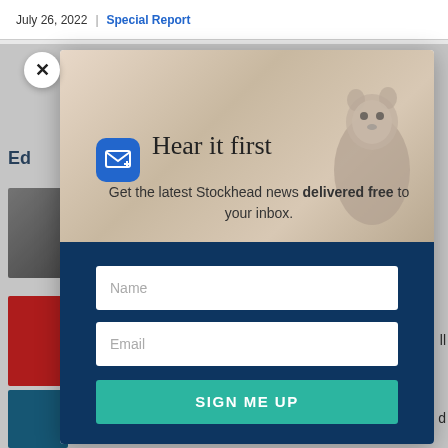July 26, 2022 | Special Report
[Figure (screenshot): Email newsletter signup modal overlay on a news website. Modal contains a groundhog photo background, a blue email icon, 'Hear it first' heading, subtitle 'Get the latest Stockhead news delivered free to your inbox.', Name input field, Email input field, and a teal SIGN ME UP button. A close (X) button appears top-left of the modal.]